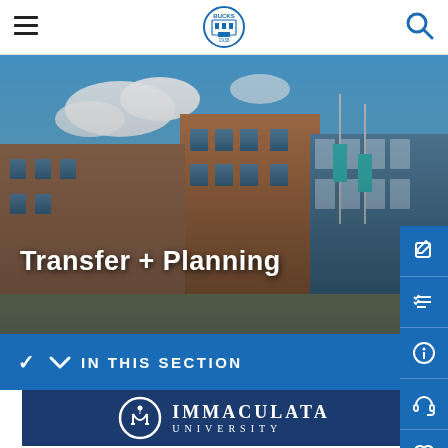[Figure (screenshot): Bucks County Community College website header with hamburger menu icon on left, Bucks shield logo in center, and search icon on right]
[Figure (photo): Hero image of Bucks County Community College campus building with brick and glass architecture, blue sky with clouds, and teal banners]
Transfer + Planning
[Figure (screenshot): Right sidebar with blue background containing icons: edit/pencil, checklist, info circle, headset, and heart]
IN THIS SECTION
[Figure (logo): Immaculata University logo banner on dark navy background with circular IU symbol and text IMMACULATA UNIVERSITY]